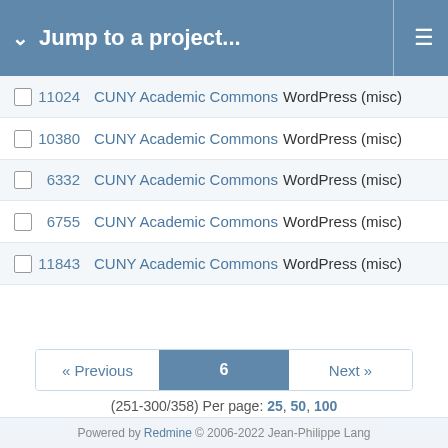Jump to a project...
|  | # | Project | Tracker |  |
| --- | --- | --- | --- | --- |
|  | 11024 | CUNY Academic Commons | WordPress (misc) |  |
|  | 10380 | CUNY Academic Commons | WordPress (misc) |  |
|  | 6332 | CUNY Academic Commons | WordPress (misc) |  |
|  | 6755 | CUNY Academic Commons | WordPress (misc) |  |
|  | 11843 | CUNY Academic Commons | WordPress (misc) |  |
« Previous  6  Next »
(251-300/358) Per page: 25, 50, 100
Also available in: Atom | CSV | PDF
Powered by Redmine © 2006-2022 Jean-Philippe Lang